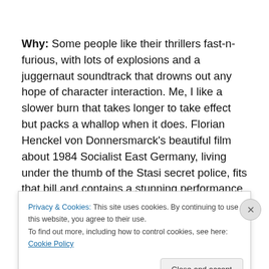Why: Some people like their thrillers fast-n-furious, with lots of explosions and a juggernaut soundtrack that drowns out any hope of character interaction. Me, I like a slower burn that takes longer to take effect but packs a whallop when it does. Florian Henckel von Donnersmarck's beautiful film about 1984 Socialist East Germany, living under the thumb of the Stasi secret police, fits that bill and contains a stunning performance by the
Privacy & Cookies: This site uses cookies. By continuing to use this website, you agree to their use.
To find out more, including how to control cookies, see here: Cookie Policy
Close and accept